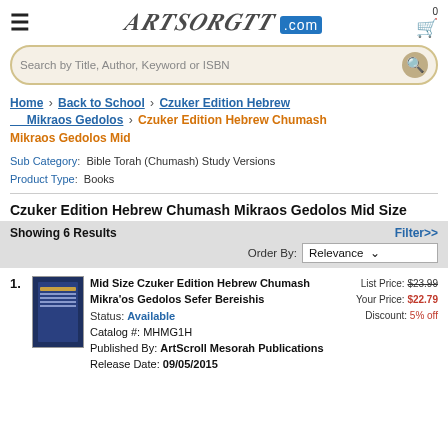ArtScroll.com — navigation header with hamburger menu, logo, and cart icon (0 items)
Search by Title, Author, Keyword or ISBN
Home > Back to School > Czuker Edition Hebrew Mikraos Gedolos > Czuker Edition Hebrew Chumash Mikraos Gedolos Mid
Sub Category: Bible Torah (Chumash) Study Versions
Product Type: Books
Czuker Edition Hebrew Chumash Mikraos Gedolos Mid Size
Showing 6 Results — Order By: Relevance — Filter>>
1. Mid Size Czuker Edition Hebrew Chumash Mikra'os Gedolos Sefer Bereishis
Status: Available
Catalog #: MHMG1H
Published By: ArtScroll Mesorah Publications
Release Date: 09/05/2015
List Price: $23.99  Your Price: $22.79  Discount: 5% off